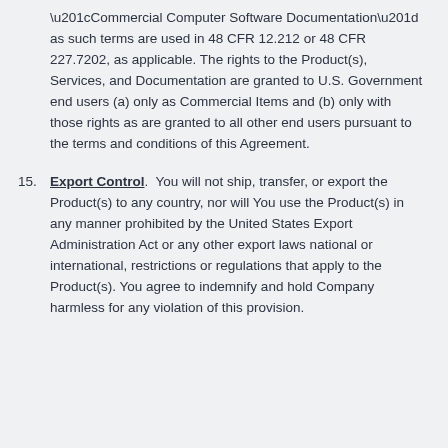“Commercial Computer Software Documentation” as such terms are used in 48 CFR 12.212 or 48 CFR 227.7202, as applicable. The rights to the Product(s), Services, and Documentation are granted to U.S. Government end users (a) only as Commercial Items and (b) only with those rights as are granted to all other end users pursuant to the terms and conditions of this Agreement.
15. Export Control. You will not ship, transfer, or export the Product(s) to any country, nor will You use the Product(s) in any manner prohibited by the United States Export Administration Act or any other export laws national or international, restrictions or regulations that apply to the Product(s). You agree to indemnify and hold Company harmless for any violation of this provision.